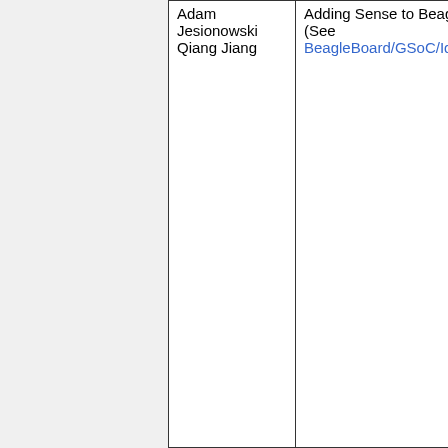| Adam Jesionowski
Qiang Jiang | Adding Sense to Beagle (See BeagleBoard/GSoC/Ideas) |